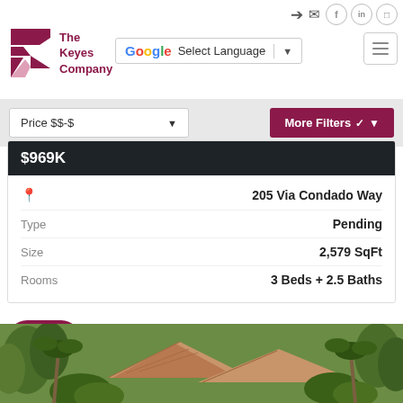[Figure (logo): The Keyes Company logo with red/dark pink K geometric mark and text 'The Keyes Company']
[Figure (screenshot): Google Translate 'Select Language' dropdown button with Google G logo and dropdown arrow]
[Figure (screenshot): Hamburger menu icon button with three horizontal lines]
[Figure (screenshot): Social icons row: login arrow, email envelope, Facebook circle, LinkedIn circle, Instagram circle]
Price $$-$
More Filters
$969K
205 Via Condado Way
Type
Pending
Size
2,579 SqFt
Rooms
3 Beds + 2.5 Baths
[Figure (photo): Exterior photo of a residential property with orange/terracotta roof tiles and tropical palm trees and green foliage in background]